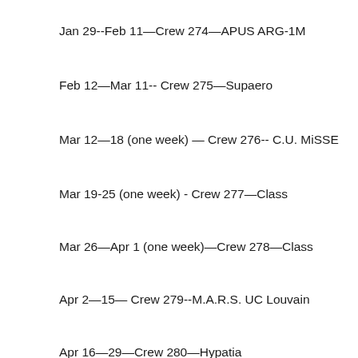Jan 29--Feb 11—Crew 274—APUS ARG-1M
Feb 12—Mar 11-- Crew 275—Supaero
Mar 12—18 (one week) — Crew 276-- C.U. MiSSE
Mar 19-25 (one week) - Crew 277—Class
Mar 26—Apr 1 (one week)—Crew 278—Class
Apr 2—15— Crew 279--M.A.R.S. UC Louvain
Apr 16—29—Crew 280—Hypatia
Apr 30—May 13—Crew 261—Transatlantic Mars Society
May 14—27— Crew 281-- Project Possum Alumni